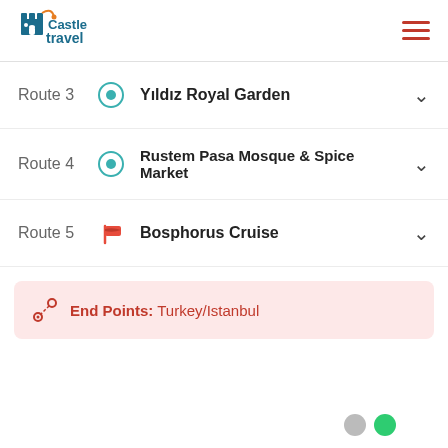Castle Travel
Route 3 - Yıldız Royal Garden
Route 4 - Rustem Pasa Mosque & Spice Market
Route 5 - Bosphorus Cruise
End Points: Turkey/Istanbul